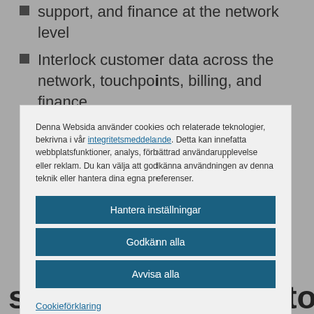support, and finance at the network level
Interlock customer data across the network, touchpoints, billing, and finance
Deliver solutions and context-based business models that enable intelligent monetization
Denna Websida använder cookies och relaterade teknologier, bekrivna i vår integritetsmeddelande. Detta kan innefatta webbplatsfunktioner, analys, förbättrad användarupplevelse eller reklam. Du kan välja att godkänna användningen av denna teknik eller hantera dina egna preferenser.
Hantera inställningar
Godkänn alla
Avvisa alla
Cookieförklaring
solutions tailored to your